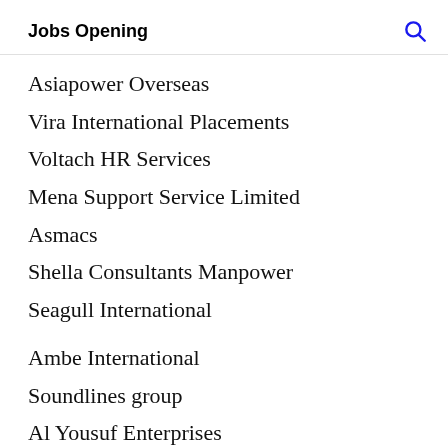Jobs Opening
Asiapower Overseas
Vira International Placements
Voltach HR Services
Mena Support Service Limited
Asmacs
Shella Consultants Manpower
Seagull International
Ambe International
Soundlines group
Al Yousuf Enterprises
International Trade Links
Manik Travels